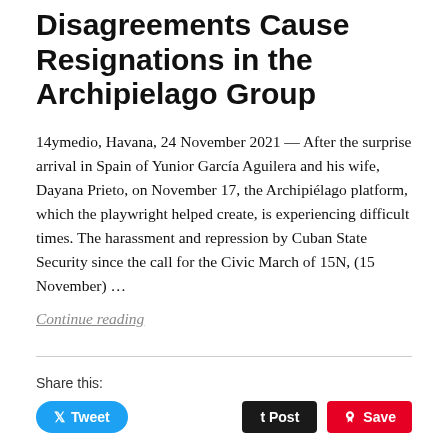Disagreements Cause Resignations in the Archipielago Group
14ymedio, Havana, 24 November 2021 — After the surprise arrival in Spain of Yunior García Aguilera and his wife, Dayana Prieto, on November 17, the Archipiélago platform, which the playwright helped create, is experiencing difficult times. The harassment and repression by Cuban State Security since the call for the Civic March of 15N, (15 November) …
Continue reading